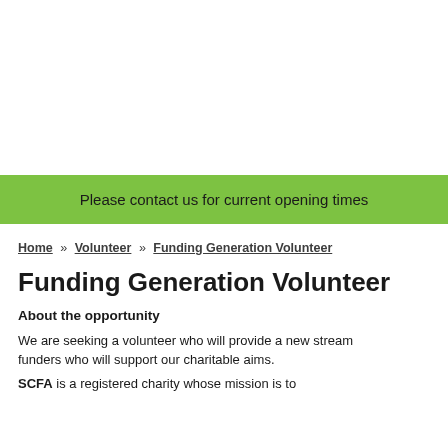Please contact us for current opening times
Home » Volunteer » Funding Generation Volunteer
Funding Generation Volunteer
About the opportunity
We are seeking a volunteer who will provide a new stream of funders who will support our charitable aims.
SCFA is a registered charity whose mission is to...